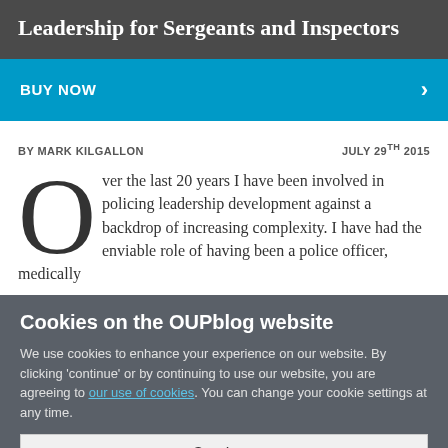Leadership for Sergeants and Inspectors
BUY NOW
BY MARK KILGALLON   JULY 29TH 2015
Over the last 20 years I have been involved in policing leadership development against a backdrop of increasing complexity. I have had the enviable role of having been a police officer, medically
Cookies on the OUPblog website
We use cookies to enhance your experience on our website. By clicking ‘continue’ or by continuing to use our website, you are agreeing to our use of cookies. You can change your cookie settings at any time.
Continue